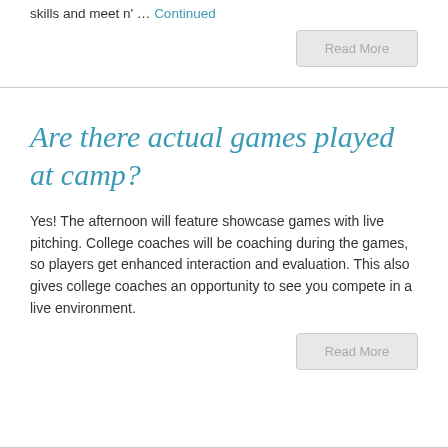skills and meet n' … Continued
Read More
Are there actual games played at camp?
Yes! The afternoon will feature showcase games with live pitching. College coaches will be coaching during the games, so players get enhanced interaction and evaluation. This also gives college coaches an opportunity to see you compete in a live environment.
Read More